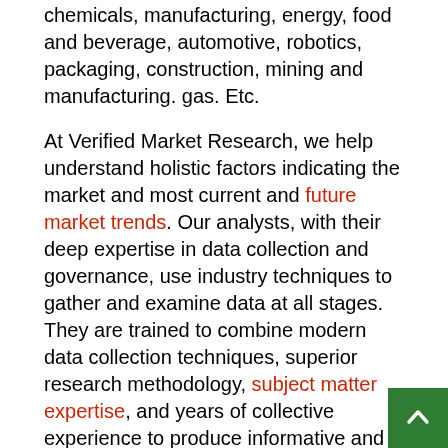chemicals, manufacturing, energy, food and beverage, automotive, robotics, packaging, construction, mining and manufacturing. gas. Etc.
At Verified Market Research, we help understand holistic factors indicating the market and most current and future market trends. Our analysts, with their deep expertise in data collection and governance, use industry techniques to gather and examine data at all stages. They are trained to combine modern data collection techniques, superior research methodology, subject matter expertise, and years of collective experience to produce informative and accurate research.
After serving over 5,000 clients, we have provided reliable market research services to over 100 Global Fortune 500 companies such as Amazon, Dell, IBM, Shell, Exxon Mobil, General Electric, Siemens, Microsoft, Sony and Hitachi. We have co-consulted